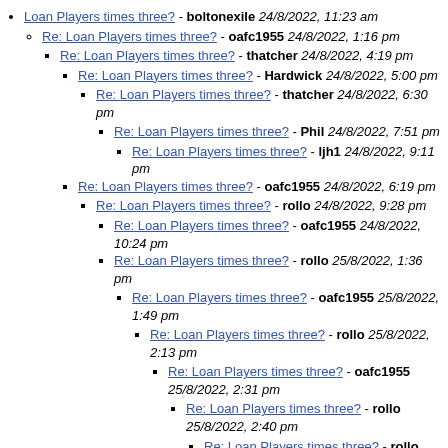Loan Players times three? - boltonexile 24/8/2022, 11:23 am
Re: Loan Players times three? - oafc1955 24/8/2022, 1:16 pm
Re: Loan Players times three? - thatcher 24/8/2022, 4:19 pm
Re: Loan Players times three? - Hardwick 24/8/2022, 5:00 pm
Re: Loan Players times three? - thatcher 24/8/2022, 6:30 pm
Re: Loan Players times three? - Phil 24/8/2022, 7:51 pm
Re: Loan Players times three? - ljh1 24/8/2022, 9:11 pm
Re: Loan Players times three? - oafc1955 24/8/2022, 6:19 pm
Re: Loan Players times three? - rollo 24/8/2022, 9:28 pm
Re: Loan Players times three? - oafc1955 24/8/2022, 10:24 pm
Re: Loan Players times three? - rollo 25/8/2022, 1:36 pm
Re: Loan Players times three? - oafc1955 25/8/2022, 1:49 pm
Re: Loan Players times three? - rollo 25/8/2022, 2:13 pm
Re: Loan Players times three? - oafc1955 25/8/2022, 2:31 pm
Re: Loan Players times three? - rollo 25/8/2022, 2:40 pm
Re: Loan Players times three? - rollo 25/8/2022, 5:35 pm
Extra York Tickets - Bernaboundary 25/8/2022, 11:29 am
Re: Extra York Tickets - Pegleg 25/8/2022, 1:10 pm
Re: Extra York Tickets - oafc1955 25/8/2022, 3:15 pm